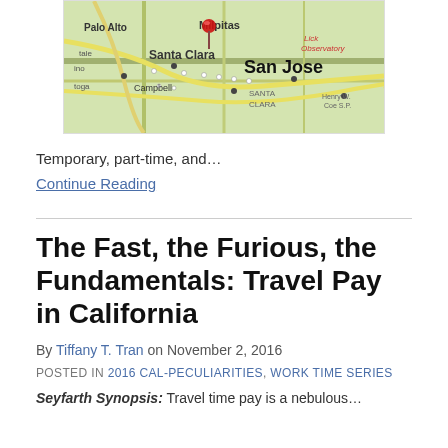[Figure (map): A map showing San Jose, Santa Clara, Milpitas, Palo Alto, Campbell area in California with a red pin/pushpin marker placed near Santa Clara/San Jose area.]
Temporary, part-time, and…
Continue Reading
The Fast, the Furious, the Fundamentals: Travel Pay in California
By Tiffany T. Tran on November 2, 2016
POSTED IN 2016 CAL-PECULIARITIES, WORK TIME SERIES
Seyfarth Synopsis: Travel time pay is a nebulous…